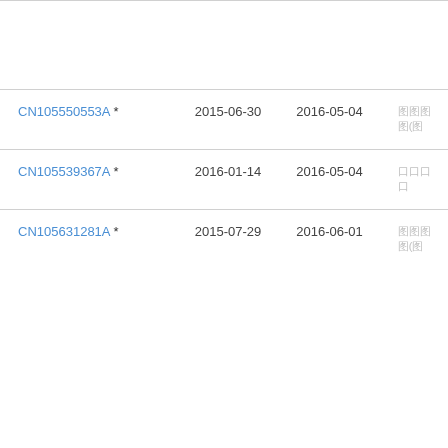| Patent | Filing Date | Publication Date | Description |
| --- | --- | --- | --- |
| CN105550553A * | 2015-06-30 | 2016-05-04 |  |
| CN105539367A * | 2016-01-14 | 2016-05-04 |  |
| CN105631281A * | 2015-07-29 | 2016-06-01 |  |